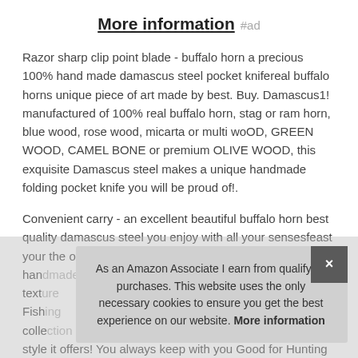More information #ad
Razor sharp clip point blade - buffalo horn a precious 100% hand made damascus steel pocket knifereal buffalo horns unique piece of art made by best. Buy. Damascus1! manufactured of 100% real buffalo horn, stag or ram horn, blue wood, rose wood, micarta or multi woOD, GREEN WOOD, CAMEL BONE or premium OLIVE WOOD, this exquisite Damascus steel makes a unique handmade folding pocket knife you will be proud of!.
Convenient carry - an excellent beautiful buffalo horn best quality damascus steel you enjoy with all your sensesfeast your ... the ... of this ... to ... handmade ... texture ... Fishing ... collection ... style it offers! You always keep with you Good for Hunting
As an Amazon Associate I earn from qualifying purchases. This website uses the only necessary cookies to ensure you get the best experience on our website. More information